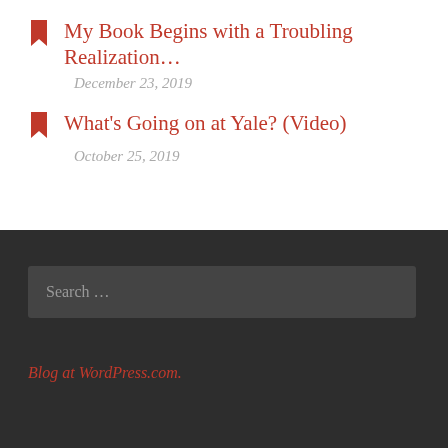My Book Begins with a Troubling Realization…
December 23, 2019
What's Going on at Yale? (Video)
October 25, 2019
Search …
Blog at WordPress.com.